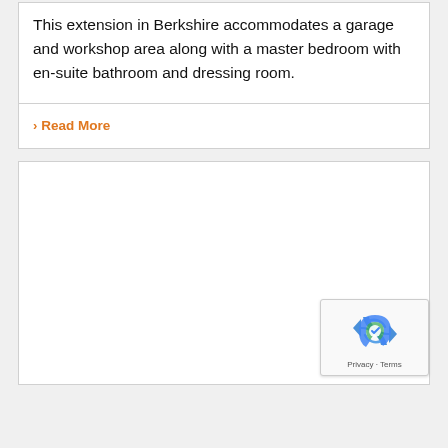This extension in Berkshire accommodates a garage and workshop area along with a master bedroom with en-suite bathroom and dressing room.
› Read More
[Figure (other): Empty white card area with a reCAPTCHA badge in the bottom-right corner showing the Google reCAPTCHA recycling-arrow logo, and 'Privacy - Terms' text below it.]